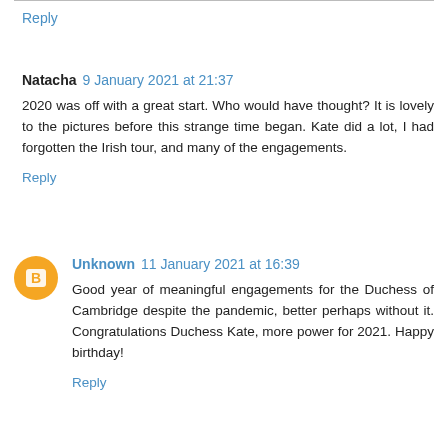Reply
Natacha  9 January 2021 at 21:37
2020 was off with a great start. Who would have thought? It is lovely to the pictures before this strange time began. Kate did a lot, I had forgotten the Irish tour, and many of the engagements.
Reply
Unknown  11 January 2021 at 16:39
Good year of meaningful engagements for the Duchess of Cambridge despite the pandemic, better perhaps without it. Congratulations Duchess Kate, more power for 2021. Happy birthday!
Reply